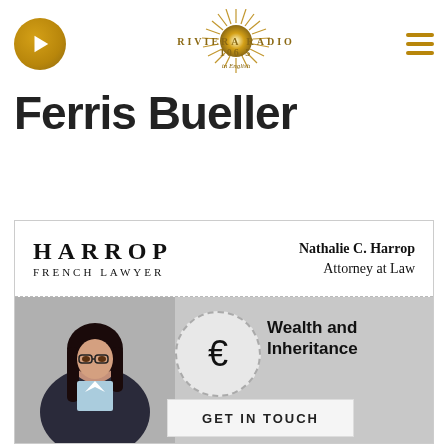[Figure (logo): Riviera Radio 106.5 in English logo with golden sunburst design, play button on left, hamburger menu on right]
Ferris Bueller
[Figure (infographic): Harrop French Lawyer advertisement banner. Top white section: HARROP FRENCH LAWYER on left, Nathalie C. Harrop Attorney at Law on right. Bottom gray section: woman in business attire on left, euro sign in dashed circle center, Wealth and Inheritance text right, GET IN TOUCH button bottom right.]